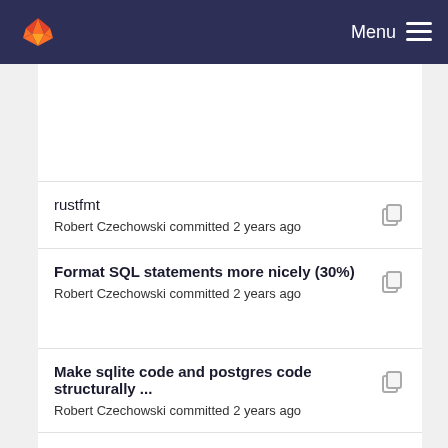Menu
rustfmt
Robert Czechowski committed 2 years ago
Format SQL statements more nicely (30%)
Robert Czechowski committed 2 years ago
Make sqlite code and postgres code structurally ...
Robert Czechowski committed 2 years ago